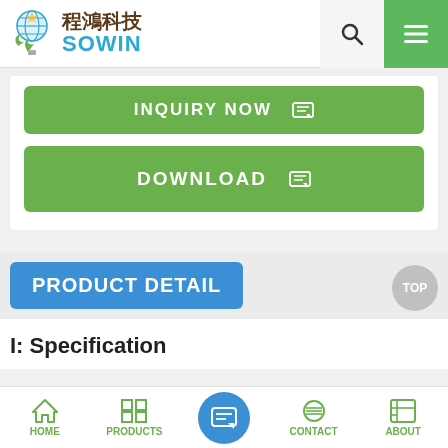程鴻科技 SOWIN
INQUIRY NOW
DOWNLOAD
PRODUCT DETAIL
I: Specification
HOME  PRODUCTS  CONTACT  ABOUT